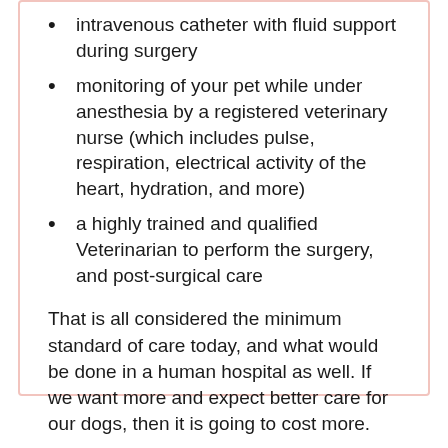intravenous catheter with fluid support during surgery
monitoring of your pet while under anesthesia by a registered veterinary nurse (which includes pulse, respiration, electrical activity of the heart, hydration, and more)
a highly trained and qualified Veterinarian to perform the surgery, and post-surgical care
That is all considered the minimum standard of care today, and what would be done in a human hospital as well. If we want more and expect better care for our dogs, then it is going to cost more.